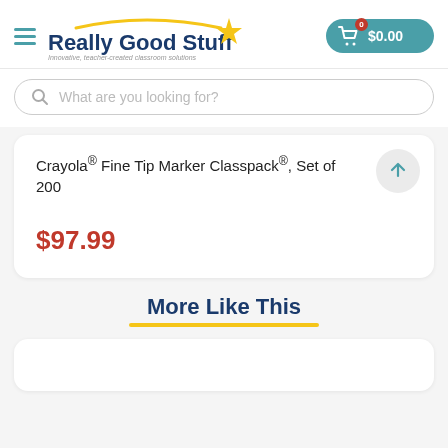[Figure (logo): Really Good Stuff logo with star and tagline 'Innovative, teacher-created classroom solutions']
What are you looking for?
Crayola® Fine Tip Marker Classpack®, Set of 200
$97.99
More Like This